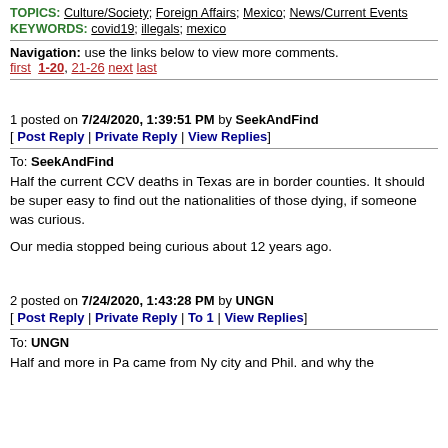TOPICS: Culture/Society; Foreign Affairs; Mexico; News/Current Events
KEYWORDS: covid19; illegals; mexico
Navigation: use the links below to view more comments. first 1-20, 21-26 next last
1 posted on 7/24/2020, 1:39:51 PM by SeekAndFind
[ Post Reply | Private Reply | View Replies]
To: SeekAndFind
Half the current CCV deaths in Texas are in border counties. It should be super easy to find out the nationalities of those dying, if someone was curious.

Our media stopped being curious about 12 years ago.
2 posted on 7/24/2020, 1:43:28 PM by UNGN
[ Post Reply | Private Reply | To 1 | View Replies]
To: UNGN
Half and more in Pa came from Ny city and Phil. and why the